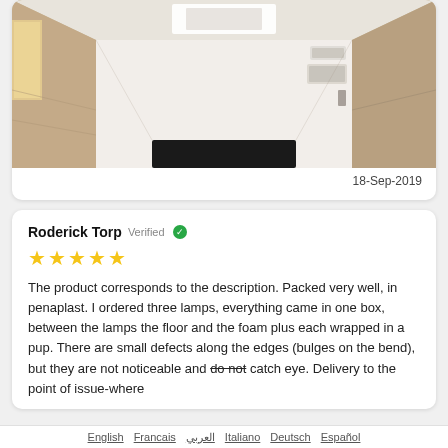[Figure (photo): Interior hallway/corridor photo showing white ceiling panels, white walls with paneling, a white air conditioning unit on the wall, and a dark floor at the far end. The perspective is looking straight down the narrow corridor.]
18-Sep-2019
Roderick Torp Verified
★★★★★
The product corresponds to the description. Packed very well, in penaplast. I ordered three lamps, everything came in one box, between the lamps the floor and the foam plus each wrapped in a pup. There are small defects along the edges (bulges on the bend), but they are not noticeable and do not catch eye. Delivery to the point of issue-where
English   Francais   العربي   Italiano   Deutsch   Español